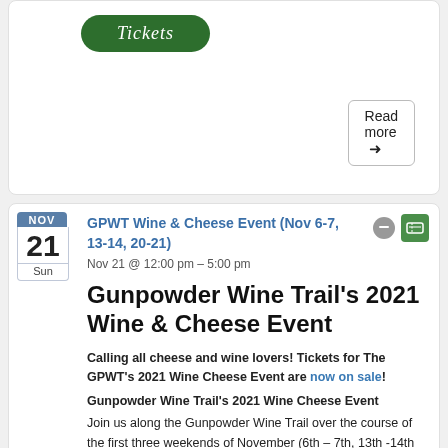[Figure (other): Green rounded button with italic white text 'Tickets']
Read more →
GPWT Wine & Cheese Event (Nov 6-7, 13-14, 20-21)
Nov 21 @ 12:00 pm – 5:00 pm
Gunpowder Wine Trail's 2021 Wine & Cheese Event
Calling all cheese and wine lovers! Tickets for The GPWT's 2021 Wine Cheese Event are now on sale!
Gunpowder Wine Trail's 2021 Wine Cheese Event
Join us along the Gunpowder Wine Trail over the course of the first three weekends of November (6th – 7th, 13th -14th & 20th – 21st) for a unique wine and cheese experience. The four family-owned Maryland wineries blended their locally hand-crafted estate wines with local Maryland dairy to create